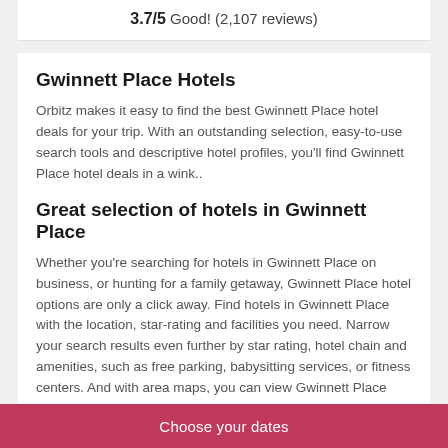3.7/5 Good! (2,107 reviews)
Gwinnett Place Hotels
Orbitz makes it easy to find the best Gwinnett Place hotel deals for your trip. With an outstanding selection, easy-to-use search tools and descriptive hotel profiles, you'll find Gwinnett Place hotel deals in a wink..
Great selection of hotels in Gwinnett Place
Whether you're searching for hotels in Gwinnett Place on business, or hunting for a family getaway, Gwinnett Place hotel options are only a click away. Find hotels in Gwinnett Place with the location, star-rating and facilities you need. Narrow your search results even further by star rating, hotel chain and amenities, such as free parking, babysitting services, or fitness centers. And with area maps, you can view Gwinnett Place hotels close you are to the airport and nearby attractions.
Choose your dates